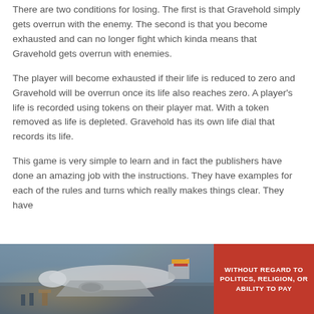There are two conditions for losing. The first is that Gravehold simply gets overrun with the enemy. The second is that you become exhausted and can no longer fight which kinda means that Gravehold gets overrun with enemies.
The player will become exhausted if their life is reduced to zero and Gravehold will be overrun once its life also reaches zero. A player's life is recorded using tokens on their player mat. With a token removed as life is depleted. Gravehold has its own life dial that records its life.
This game is very simple to learn and in fact the publishers have done an amazing job with the instructions. They have examples for each of the rules and turns which really makes things clear. They have
[Figure (photo): Advertisement banner showing cargo aircraft being loaded at an airport, with a red panel on the right reading 'WITHOUT REGARD TO POLITICS, RELIGION, OR ABILITY TO PAY']